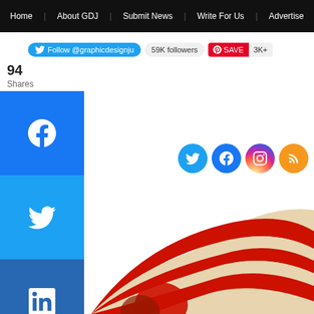Home | About GDJ | Submit News | Write For Us | Advertise
[Figure (screenshot): Website screenshot showing navigation bar, Twitter follow button with 59K followers, Pinterest Save button with 3K+, social share sidebar buttons (Facebook, Twitter, LinkedIn, Pinterest, More), social media icons (Twitter, Facebook, Instagram, RSS), share count of 94, and a 3D rendered illustration of red and cream colored curved shapes/ribbons at the bottom.]